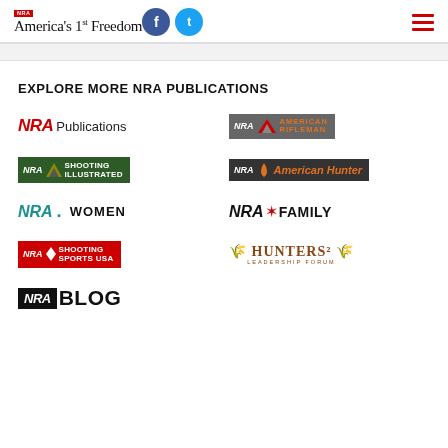NRA America's 1st Freedom
EXPLORE MORE NRA PUBLICATIONS
[Figure (logo): NRA Publications logo]
[Figure (logo): NRA American Rifleman logo]
[Figure (logo): NRA Shooting Illustrated logo]
[Figure (logo): NRA American Hunter logo]
[Figure (logo): NRA Women logo]
[Figure (logo): NRA Family logo]
[Figure (logo): NRA Shooting Sports USA logo]
[Figure (logo): NRA Hunters Leadership Forum logo]
[Figure (logo): NRA Blog logo]